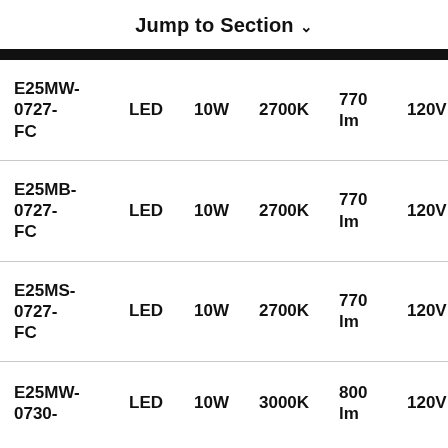Jump to Section ∨
| Model | Type | Wattage | Color Temp | Lumens | Voltage |
| --- | --- | --- | --- | --- | --- |
| E25MW-0727-FC | LED | 10W | 2700K | 770 lm | 120V |
| E25MB-0727-FC | LED | 10W | 2700K | 770 lm | 120V |
| E25MS-0727-FC | LED | 10W | 2700K | 770 lm | 120V |
| E25MW-0730- | LED | 10W | 3000K | 800 lm | 120V |